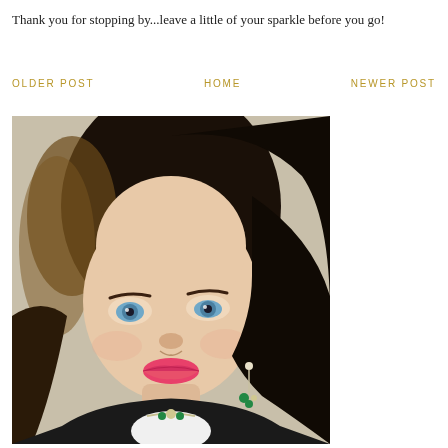Thank you for stopping by...leave a little of your sparkle before you go!
OLDER POST   HOME   NEWER POST
[Figure (photo): Portrait photo of a woman with dark brown hair, blue eyes, pink lipstick, wearing green and diamond floral earrings and a matching necklace, smiling, with a dark jacket and white ruffled top.]